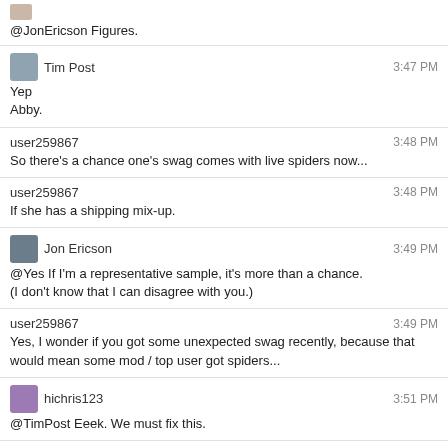@JonEricson Figures.
Tim Post 3:47 PM
Yep
Abby.
user259867 3:48 PM
So there's a chance one's swag comes with live spiders now...
user259867 3:48 PM
If she has a shipping mix-up.
Jon Ericson 3:49 PM
@Yes If I'm a representative sample, it's more than a chance.
(I don't know that I can disagree with you.)
user259867 3:49 PM
Yes, I wonder if you got some unexpected swag recently, because that would mean some mod / top user got spiders...
hichris123 3:51 PM
@TimPost Eeek. We must fix this.
bjb568 3:53 PM
So when does my swag come?
Unihedron 3:54 PM